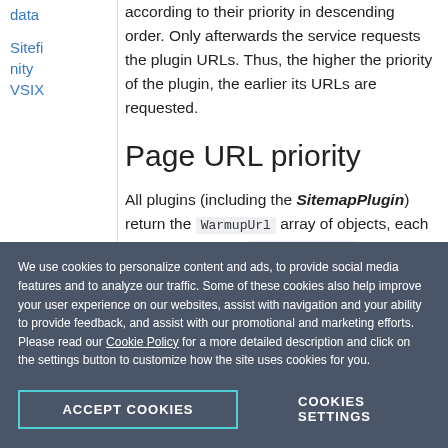data
Sitefinity VSIX
according to their priority in descending order. Only afterwards the service requests the plugin URLs. Thus, the higher the priority of the plugin, the earlier its URLs are requested.
Page URL priority
All plugins (including the SitemapPlugin) return the WarmupUrl array of objects, each object having the WarmupPriorit
We use cookies to personalize content and ads, to provide social media features and to analyze our traffic. Some of these cookies also help improve your user experience on our websites, assist with navigation and your ability to provide feedback, and assist with our promotional and marketing efforts. Please read our Cookie Policy for a more detailed description and click on the settings button to customize how the site uses cookies for you.
ACCEPT COOKIES
COOKIES SETTINGS